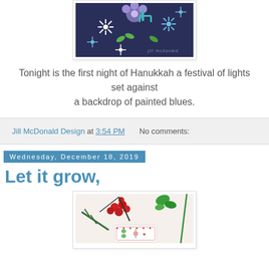[Figure (illustration): Illustration of Hanukkah-themed floral design with blue and white flowers, green leaves on a dark navy background, with 'jill mcdonald' watermark]
Tonight is the first night of Hanukkah a festival of lights set against
a backdrop of painted blues.
Jill McDonald Design at 3:54 PM    No comments:
Wednesday, December 18, 2019
Let it grow,
[Figure (photo): Photo of a decorative holiday item with red berries, green succulent, pine needles, and illustrated botanical ornament on white background]